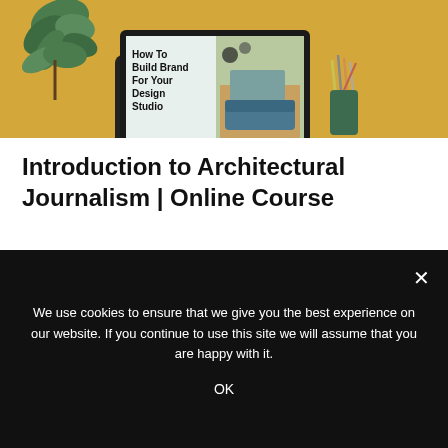[Figure (screenshot): Website screenshot showing a laptop with 'How To Build Brand For Your Design Studio' on screen, against a golden/yellow background with a plant and pencil holder]
Introduction to Architectural Journalism | Online Course
[Figure (screenshot): Partial view of a light-colored content section below the title]
We use cookies to ensure that we give you the best experience on our website. If you continue to use this site we will assume that you are happy with it.
OK